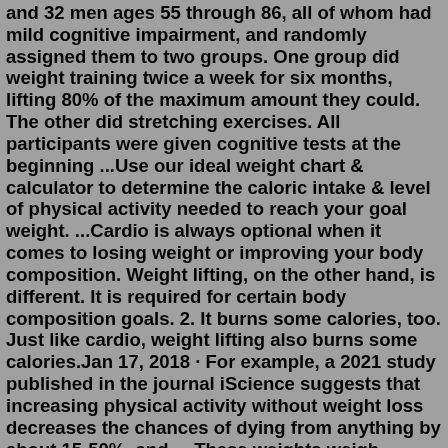and 32 men ages 55 through 86, all of whom had mild cognitive impairment, and randomly assigned them to two groups. One group did weight training twice a week for six months, lifting 80% of the maximum amount they could. The other did stretching exercises. All participants were given cognitive tests at the beginning ...Use our ideal weight chart & calculator to determine the caloric intake & level of physical activity needed to reach your goal weight. ...Cardio is always optional when it comes to losing weight or improving your body composition. Weight lifting, on the other hand, is different. It is required for certain body composition goals. 2. It burns some calories, too. Just like cardio, weight lifting also burns some calories.Jan 17, 2018 · For example, a 2021 study published in the journal iScience suggests that increasing physical activity without weight loss decreases the chances of dying from anything by about 15-50%, and ... These weights weigh anywhere from as low as two kilograms to over 45 kilograms (5 pounds to over 100 pounds). Benefits Of Kettlebell